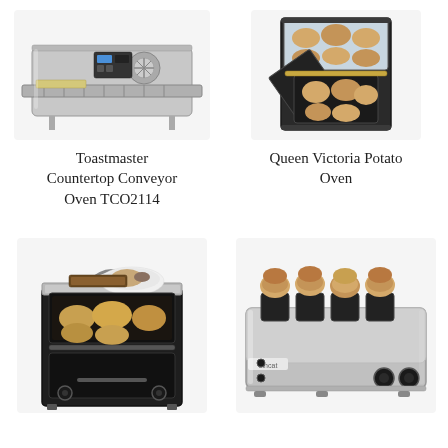[Figure (photo): Toastmaster Countertop Conveyor Oven TCO2114 - stainless steel conveyor oven with belt and control panel]
Toastmaster Countertop Conveyor Oven TCO2114
[Figure (photo): Queen Victoria Potato Oven - dark vintage-style oven with glass top showing baked goods inside]
Queen Victoria Potato Oven
[Figure (photo): Dark countertop oven with food items on top and baked potatoes visible inside through open door]
[Figure (photo): Lincat 4-slot commercial toaster - stainless steel wide slot toaster with buns being toasted]